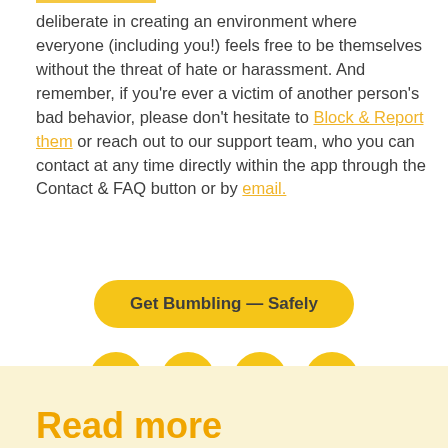deliberate in creating an environment where everyone (including you!) feels free to be themselves without the threat of hate or harassment. And remember, if you're ever a victim of another person's bad behavior, please don't hesitate to Block & Report them or reach out to our support team, who you can contact at any time directly within the app through the Contact & FAQ button or by email.
[Figure (other): Yellow rounded rectangle button with text 'Get Bumbling — Safely']
[Figure (other): Four yellow circular social media icons: Facebook, Twitter, Pinterest, LinkedIn]
Read more